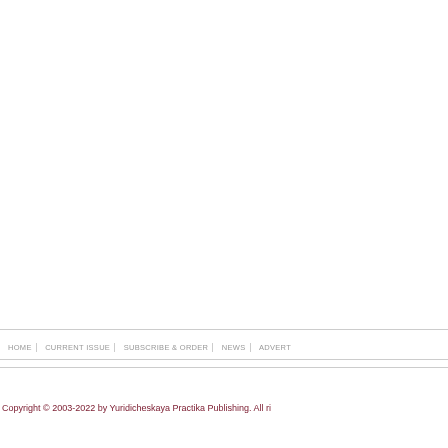HOME   CURRENT ISSUE   SUBSCRIBE & ORDER   NEWS   ADVERT
Copyright © 2003-2022 by Yuridicheskaya Practika Publishing. All ri